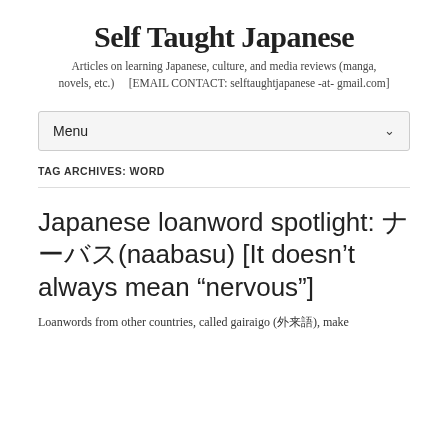Self Taught Japanese
Articles on learning Japanese, culture, and media reviews (manga, novels, etc.)     [EMAIL CONTACT: selftaughtjapanese -at- gmail.com]
Menu
TAG ARCHIVES: WORD
Japanese loanword spotlight: ナーバス(naabasu) [It doesn’t always mean “nervous”]
Loanwords from other countries, called gairaigo (外来語), make